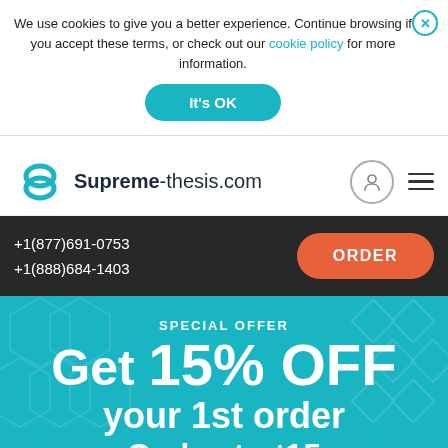We use cookies to give you a better experience. Continue browsing if you accept these terms, or check out our cookie policy for more information.
It's OK
[Figure (logo): Supreme-thesis.com logo with stylized S icon]
+1(877)691-0753
+1(888)684-1403
ORDER
SPECIAL OFFER
Get 15% OFF your 1st order Code start15